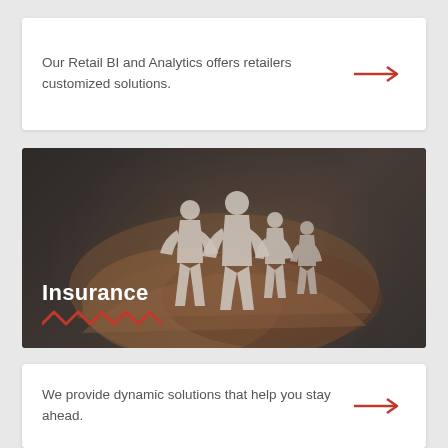Our Retail BI and Analytics offers retailers customized solutions.
[Figure (photo): Hands cradling paper family cutout figures (family protection/insurance concept image) with dark overlay. Title 'Insurance' displayed in white bold text at bottom left with orange zigzag underline decoration.]
Insurance
We provide dynamic solutions that help you stay ahead.